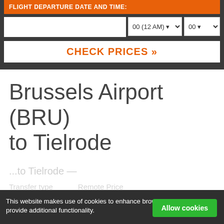FLIGHT DEPARTURE DATE AND TIME:
[Figure (screenshot): Flight search form with date input, hour dropdown (00 12 AM), and minute dropdown (00), plus a Check Prices button]
Brussels Airport (BRU) to Tielrode
This website makes use of cookies to enhance browsing experience and provide additional functionality.
Allow cookies